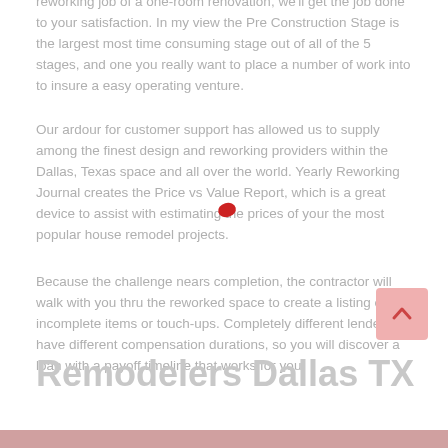reworking job of a one-room renovation, we'll get the job done to your satisfaction. In my view the Pre Construction Stage is the largest most time consuming stage out of all of the 5 stages, and one you really want to place a number of work into to insure a easy operating venture.
Our ardour for customer support has allowed us to supply among the finest design and reworking providers within the Dallas, Texas space and all over the world. Yearly Reworking Journal creates the Price vs Value Report, which is a great device to assist with estimating the prices of your the most popular house remodel projects.
Because the challenge nears completion, the contractor will walk with you thru the reworked space to create a listing of incomplete items or touch-ups. Completely different lenders have different compensation durations, so you will discover a loan with a payoff timeline that works for you.
Remodelers Dallas TX